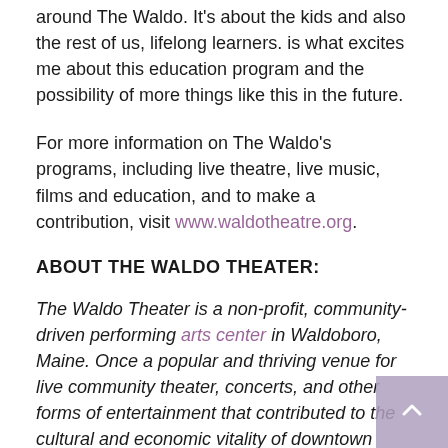around The Waldo. It's about the kids and also the rest of us, lifelong learners. is what excites me about this education program and the possibility of more things like this in the future.
For more information on The Waldo's programs, including live theatre, live music, films and education, and to make a contribution, visit www.waldotheatre.org.
ABOUT THE WALDO THEATER:
The Waldo Theater is a non-profit, community-driven performing arts center in Waldoboro, Maine. Once a popular and thriving venue for live community theater, concerts, and other forms of entertainment that contributed to the cultural and economic vitality of downtown Waldoboro, the theater closed in 2014. The building is fallen into disrepair and, in 2017, was placed on the list of Maine's Most Endangered Historic Places. Area residents have come together to create a new council and chart a new course forward. After several years of fundraising and renovations, The Waldo reopened virtually in